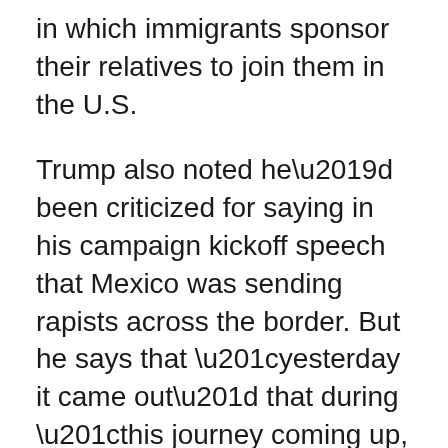in which immigrants sponsor their relatives to join them in the U.S.
Trump also noted he’d been criticized for saying in his campaign kickoff speech that Mexico was sending rapists across the border. But he says that “yesterday it came out” that during “this journey coming up, women are raped at levels that nobody has ever seen before.”